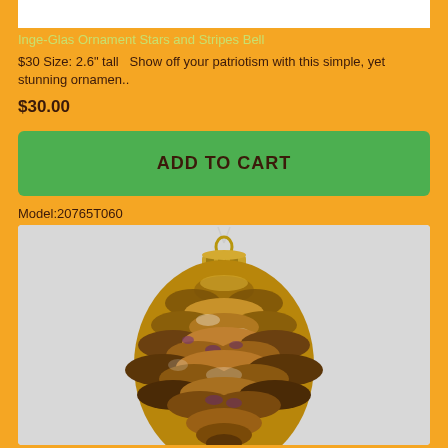Inge-Glas Ornament Stars and Stripes Bell
$30 Size: 2.6" tall  Show off your patriotism with this simple, yet stunning ornamen..
$30.00
ADD TO CART
Model:20765T060
[Figure (photo): Close-up photo of a pine cone shaped Christmas ornament with gold cap and hanger, showing detailed textured surface with brown, gold, and purple tones with frosted accents against a light grey background.]